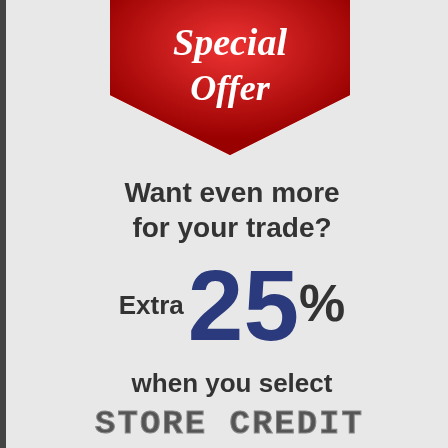[Figure (illustration): Red arrow chevron/badge pointing downward with 'Special Offer' text in white italic script on it, partially cropped at top]
Want even more for your trade?
Extra 25%
when you select
STORE CREDIT